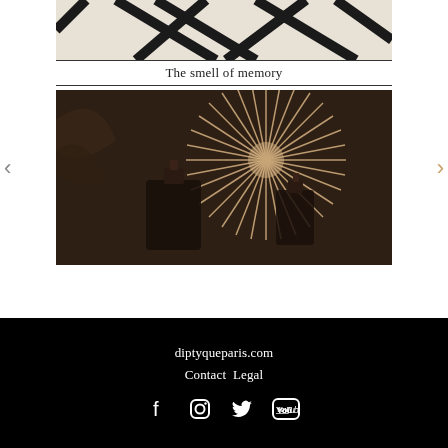[Figure (photo): Abstract geometric black lines on cream/beige background, top portion of image cropped]
The smell of memory
[Figure (photo): Sepia-toned photograph of perfume bottles with starburst light pattern radiating behind them on a dark background]
diptyqueparis.com
Contact Legal
[Figure (infographic): Social media icons: Facebook, Instagram, Twitter, YouTube]